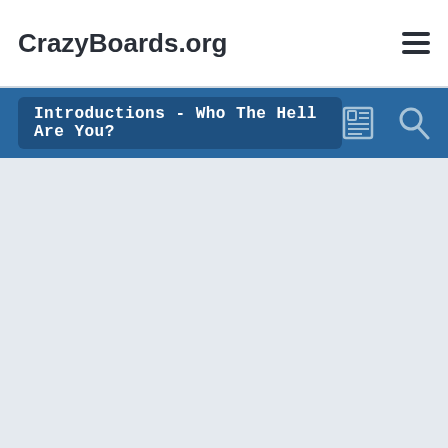CrazyBoards.org
Introductions - Who The Hell Are You?